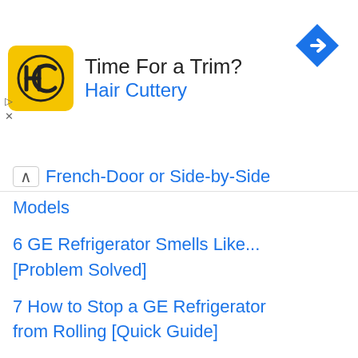[Figure (other): Hair Cuttery advertisement banner with yellow logo showing HC initials, headline 'Time For a Trim?', and blue navigation arrow icon]
French-Door or Side-by-Side Models
6 GE Refrigerator Smells Like... [Problem Solved]
7 How to Stop a GE Refrigerator from Rolling [Quick Guide]
8 GE Cafe Refrigerator WiFi Setup [Quick Guide]